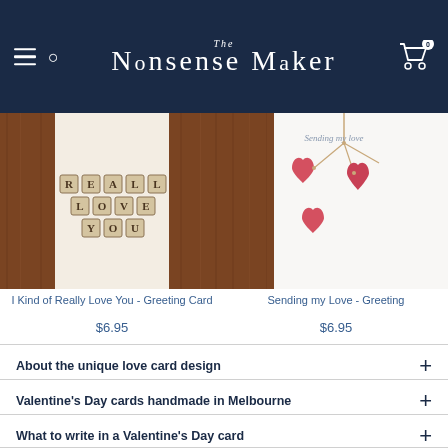The Nonsense Maker
[Figure (photo): Product image of 'I Kind of Really Love You' greeting card with scrabble-tile letters spelling REALLY LOVE YOU on a wooden background]
I Kind of Really Love You - Greeting Card
$6.95
[Figure (photo): Product image of 'Sending my Love' greeting card with hanging heart illustrations on white background with text 'Sending my love']
Sending my Love - Greeting
$6.95
About the unique love card design
Valentine's Day cards handmade in Melbourne
What to write in a Valentine's Day card